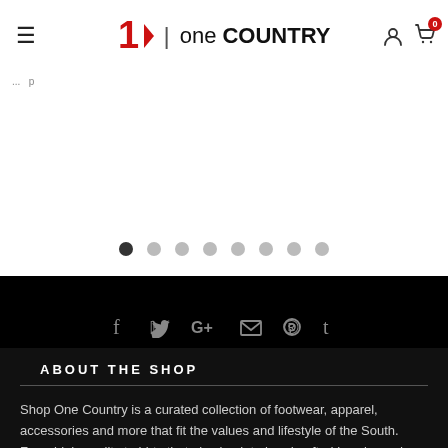[Figure (logo): One Country logo with hamburger menu, user icon, and cart icon with badge 0]
[Figure (other): Carousel pagination dots, first dot active (dark), remaining 7 dots grey]
[Figure (other): Social media icons row on black background: Facebook, Twitter, Google+, Email, Pinterest, Tumblr]
ABOUT THE SHOP
Shop One Country is a curated collection of footwear, apparel, accessories and more that fit the values and lifestyle of the South. From high-quality t-shirts that give back to handcrafted jewelry and artisan home goods, every product has its own story and was hand selected to be a part of our collection